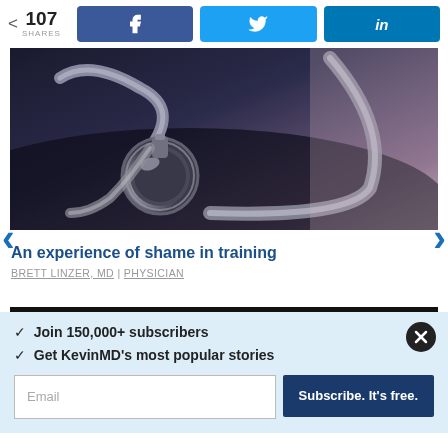107 SHARES | [Facebook share] [Twitter share] [LinkedIn share]
[Figure (photo): Close-up photograph of a silver stethoscope resting on a dark surface, with the chest piece in the foreground and tubing extending behind it.]
An experience of shame in training
BRETT LINZER, MD | PHYSICIAN
Join 150,000+ subscribers
Get KevinMD's most popular stories
Email | Subscribe. It's free.